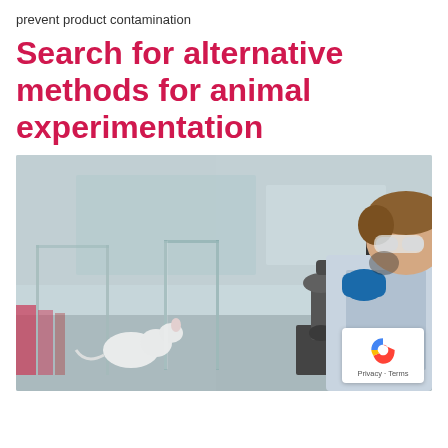prevent product contamination
Search for alternative methods for animal experimentation
[Figure (photo): A scientist wearing safety goggles and blue gloves looks through a microscope in a laboratory, with a white rat visible in a glass enclosure in the foreground.]